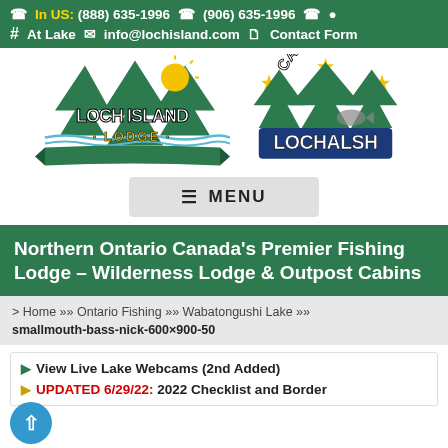In US: (888) 635-1996  (906) 635-1996  •  # At Lake  info@lochisland.com  Contact Form
[Figure (logo): Loch Island Lodge logo and Camp Lochalsh logo side by side]
≡ MENU
Northern Ontario Canada's Premier Fishing Lodge – Wilderness Lodge & Outpost Cabins
> Home »» Ontario Fishing »» Wabatongushi Lake »» smallmouth-bass-nick-600×900-50
View Live Lake Webcams (2nd Added)
UPDATED 6/29/22: 2022 Checklist and Border